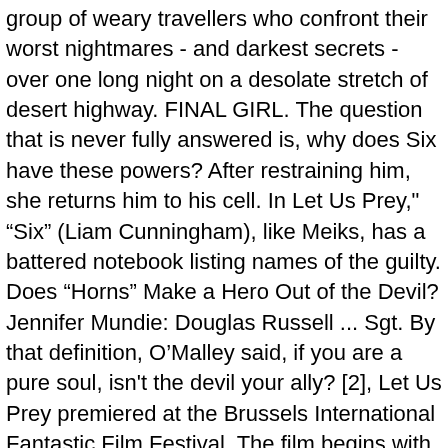group of weary travellers who confront their worst nightmares - and darkest secrets - over one long night on a desolate stretch of desert highway. FINAL GIRL. The question that is never fully answered is, why does Six have these powers? After restraining him, she returns him to his cell. In Let Us Prey," "Six" (Liam Cunningham), like Meiks, has a battered notebook listing names of the guilty. Does "Horns" Make a Hero Out of the Devil? Jennifer Mundie: Douglas Russell ... Sgt. By that definition, O'Malley said, if you are a pure soul, isn't the devil your ally? [2], Let Us Prey premiered at the Brussels International Fantastic Film Festival. The film begins with the rolling waves of an angry sea. Trapped in an isolated gas station by a voracious Splinter parasite that transforms its still-living victims into deadly hosts, a young couple and an escaped convict must find a way to work together to survive this primal terror. Inspired by an Irish Catholic upbringing, O'Malley presents a version of the devil who is, oddly, the hero of the film in that he punishes the wicked and spares those who do right. A depressed and stressed film archivist finds his sanity crumbling after he is given an old 16mm film reel with footage from a horrific murder that occurred in the early 1900's. Q & A. Q: In "Let us Prey," who is Six? Brian O'Malley's artistic and dark Let Us Prey (2014) travels into a world where evil seems to guide the decisions of all its inhabitants. She slowly realizes her clients harbor a terrifying secret, putting her life in mortal danger. He